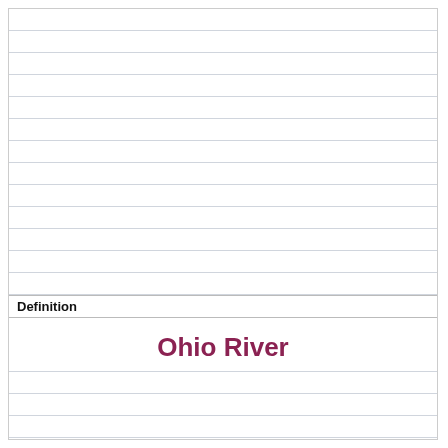Definition
Ohio River
Term
who is the treasurer for indiana ? [image]